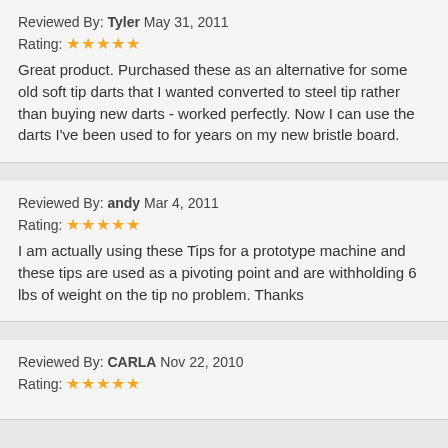Reviewed By: Tyler May 31, 2011
Rating: ★★★★★
Great product. Purchased these as an alternative for some old soft tip darts that I wanted converted to steel tip rather than buying new darts - worked perfectly. Now I can use the darts I've been used to for years on my new bristle board.
Reviewed By: andy Mar 4, 2011
Rating: ★★★★★
I am actually using these Tips for a prototype machine and these tips are used as a pivoting point and are withholding 6 lbs of weight on the tip no problem. Thanks
Reviewed By: CARLA Nov 22, 2010
Rating: ★★★★★